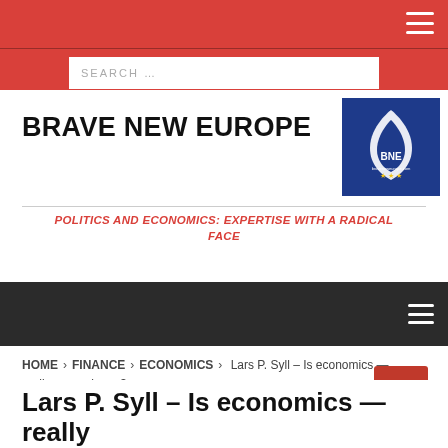SEARCH …
BRAVE NEW EUROPE
[Figure (logo): Brave New Europe (BNE) logo: white flame and shield on blue background with yellow stars]
POLITICS AND ECONOMICS: EXPERTISE WITH A RADICAL FACE
HOME > FINANCE > ECONOMICS > Lars P. Syll – Is economics — really — a science?
Lars P. Syll – Is economics — really